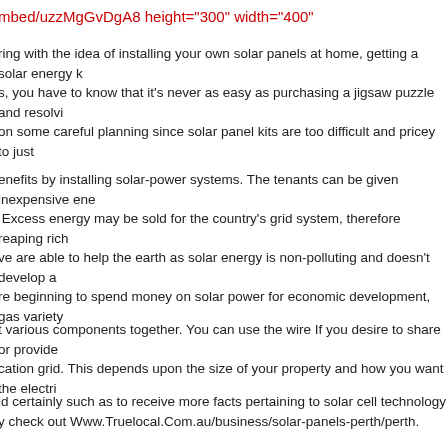mbed/uzzMgGvDgA8 height="300" width="400"
ring with the idea of installing your own solar panels at home, getting a solar energy k s, you have to know that it's never as easy as purchasing a jigsaw puzzle and resolvi on some careful planning since solar panel kits are too difficult and pricey to just
enefits by installing solar-power systems. The tenants can be given inexpensive ener  Excess energy may be sold for the country's grid system, therefore reaping rich
ve are able to help the earth as solar energy is non-polluting and doesn't develop a re beginning to spend money on solar power for economic development, gas variety
t various components together. You can use the wire If you desire to share or provide cation grid. This depends upon the size of your property and how you want the electri
ld certainly such as to receive more facts pertaining to solar cell technology y check out Www.Truelocal.Com.au/business/solar-panels-perth/perth.